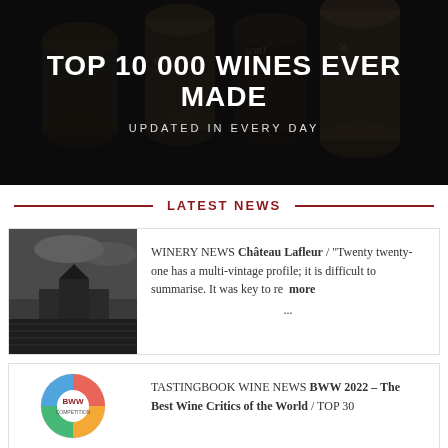[Figure (photo): Black and white hero banner with wine corks, overlaid with large white text]
TOP 10 000 WINES EVER MADE
UPDATED IN EVERY DAY
LATEST NEWS
[Figure (photo): Black and white photo of a vineyard/winery building in moody sky]
WINERY NEWS Château Lafleur / "Twenty twenty-one has a multi-vintage profile; it is difficult to summarise. It was key to re  more ...
[Figure (logo): BWW Competition 2022 colorful globe logo]
TASTINGBOOK WINE NEWS BWW 2022 – The Best Wine Critics of the World / TOP 30